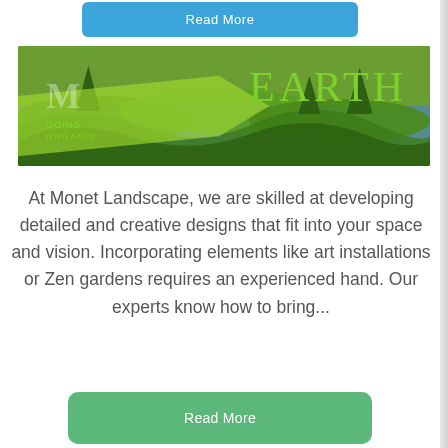[Figure (other): Blue 'Read More' button at top of page]
[Figure (photo): Banner image showing ornamental garden with manicured green topiary hedges, blue flowering ground cover, and the text 'EARTH' in green on the right and 'M GOING ORGANIC' logo/text on the left]
At Monet Landscape, we are skilled at developing detailed and creative designs that fit into your space and vision. Incorporating elements like art installations or Zen gardens requires an experienced hand. Our experts know how to bring...
[Figure (other): Green 'Read More' button at bottom of page]